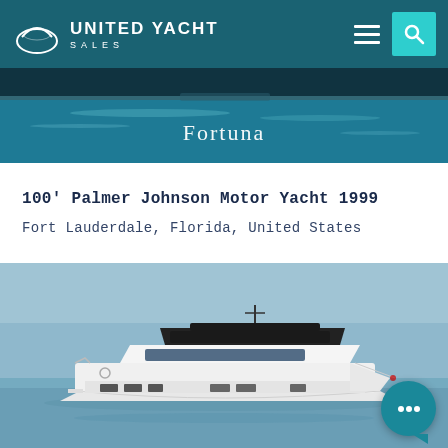UNITED YACHT SALES
[Figure (photo): United Yacht Sales logo — crescent/wave mark in white on teal background with navigation icons]
[Figure (photo): Ocean water banner background with text 'Fortuna' overlaid in white serif font]
Fortuna
100' Palmer Johnson Motor Yacht 1999
Fort Lauderdale, Florida, United States
[Figure (photo): White luxury motor yacht photographed on calm water with clear blue sky, featuring dark flybridge and modern hull design]